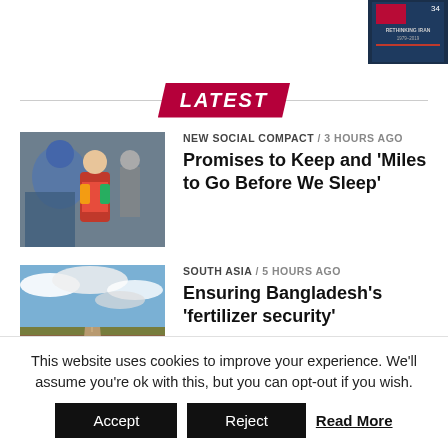[Figure (photo): Book cover thumbnail in top right corner, dark blue background with text 'RETHINKING IRAN 1979-2019' and number 34]
LATEST
[Figure (photo): Photo of people, including a young girl in colorful traditional clothing and a woman in blue hijab]
NEW SOCIAL COMPACT / 3 hours ago
Promises to Keep and 'Miles to Go Before We Sleep'
[Figure (photo): Landscape photo with a dirt road stretching into the distance under a dramatic cloudy sky]
SOUTH ASIA / 5 hours ago
Ensuring Bangladesh's 'fertilizer security'
[Figure (photo): Aerial or elevated photo of a city with a mountain backdrop]
AMERICAS / 7 hours ago
Political Economy of Brazil
This website uses cookies to improve your experience. We'll assume you're ok with this, but you can opt-out if you wish.